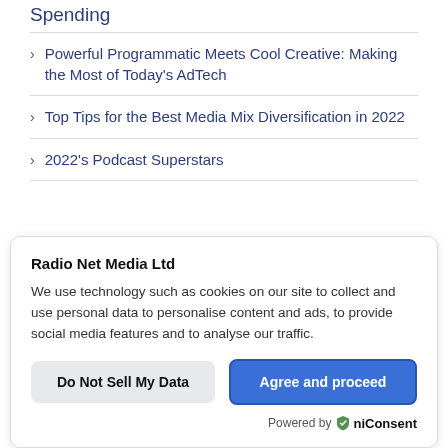Spending
Powerful Programmatic Meets Cool Creative: Making the Most of Today's AdTech
Top Tips for the Best Media Mix Diversification in 2022
2022's Podcast Superstars
Radio Net Media Ltd
We use technology such as cookies on our site to collect and use personal data to personalise content and ads, to provide social media features and to analyse our traffic.
Do Not Sell My Data
Agree and proceed
Powered by OniConsent